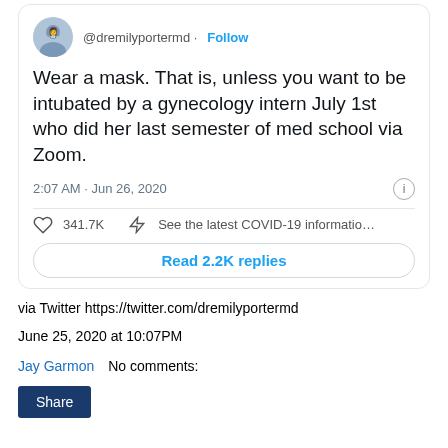[Figure (screenshot): Tweet screenshot from @dremilyportermd showing a tweet card with avatar, handle, follow button, tweet text about wearing a mask, timestamp 2:07 AM Jun 26 2020, 341.7K likes, COVID-19 info link, and Read 2.2K replies button]
via Twitter https://twitter.com/dremilyportermd
June 25, 2020 at 10:07PM
Jay Garmon   No comments:
Share